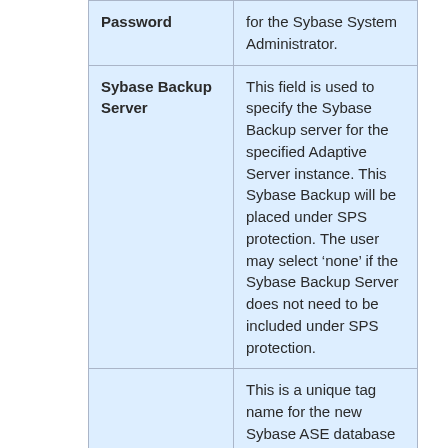| Field | Description |
| --- | --- |
| Password | for the Sybase System Administrator. |
| Sybase Backup Server | This field is used to specify the Sybase Backup server for the specified Adaptive Server instance. This Sybase Backup will be placed under SPS protection. The user may select ‘none’ if the Sybase Backup Server does not need to be included under SPS protection. |
|  | This is a unique tag name for the new Sybase ASE database resource on the primary server. The default tag name consists of the |